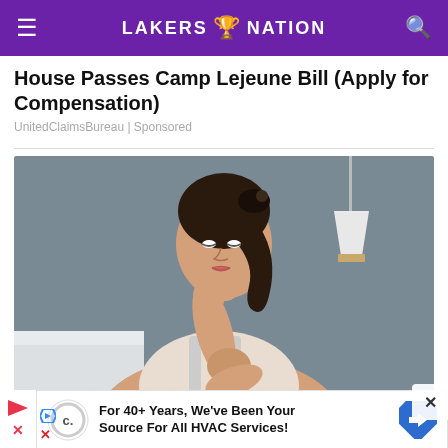LAKERS 🏆 NATION
House Passes Camp Lejeune Bill (Apply for Compensation)
UnitedClaimsBureau | Sponsored
[Figure (photo): Woman with dark hair in ponytail, looking down, touching her arm/elbow area, sitting in a room with a pendant lamp in the background]
For 40+ Years, We've Been Your Source For All HVAC Services!